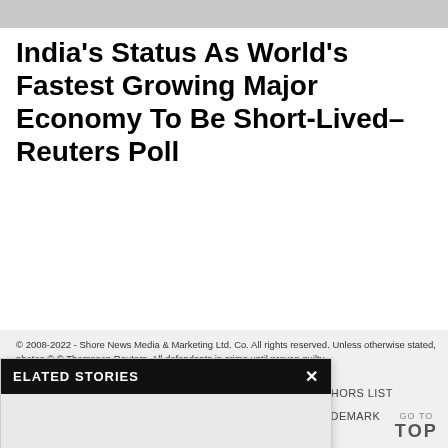[Figure (photo): Partial photo strip at top of page, cropped]
India's Status As World's Fastest Growing Major Economy To Be Short-Lived– Reuters Poll
© 2008-2022 - Shore News Media & Marketing Ltd. Co. All rights reserved. Unless otherwise stated, photos © © Thompson Reuters. All defendants in crime until proven guilty.
NETWORK    AUTHORS LIST
COPYRIGHT & TRADEMARK
LIATE DISCLOSURE
E
ELATED STORIES  ×